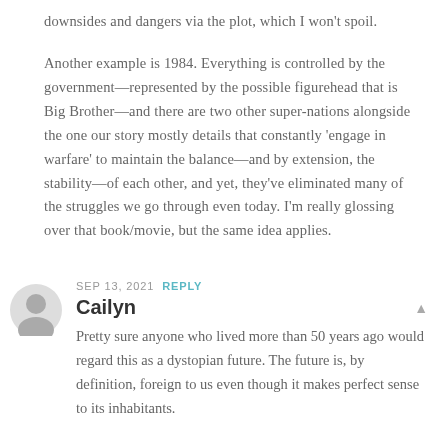downsides and dangers via the plot, which I won't spoil.
Another example is 1984. Everything is controlled by the government—represented by the possible figurehead that is Big Brother—and there are two other super-nations alongside the one our story mostly details that constantly 'engage in warfare' to maintain the balance—and by extension, the stability—of each other, and yet, they've eliminated many of the struggles we go through even today. I'm really glossing over that book/movie, but the same idea applies.
SEP 13, 2021  REPLY
Cailyn
Pretty sure anyone who lived more than 50 years ago would regard this as a dystopian future. The future is, by definition, foreign to us even though it makes perfect sense to its inhabitants.